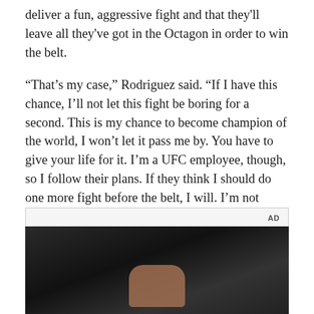deliver a fun, aggressive fight and that they'll leave all they've got in the Octagon in order to win the belt.
“That’s my case,” Rodriguez said. “If I have this chance, I’ll not let this fight be boring for a second. This is my chance to become champion of the world, I won’t let it pass me by. You have to give your life for it. I’m a UFC employee, though, so I follow their plans. If they think I should do one more fight before the belt, I will. I’m not counting on my next fight being for the belt.”
[Figure (photo): Dark photo showing a person's hand, possibly in an octagon or arena setting, with dark background]